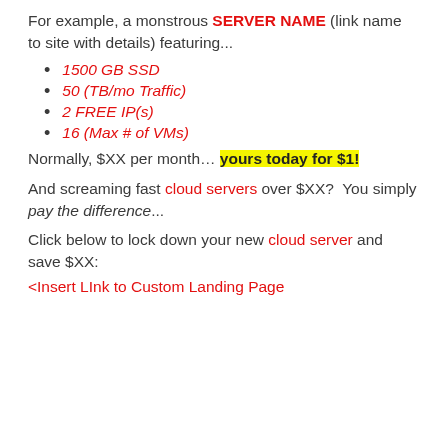For example, a monstrous SERVER NAME (link name to site with details) featuring...
1500 GB SSD
50 (TB/mo Traffic)
2 FREE IP(s)
16 (Max # of VMs)
Normally, $XX per month... yours today for $1!
And screaming fast cloud servers over $XX? You simply pay the difference...
Click below to lock down your new cloud server and save $XX:
<Insert LInk to Custom Landing Page